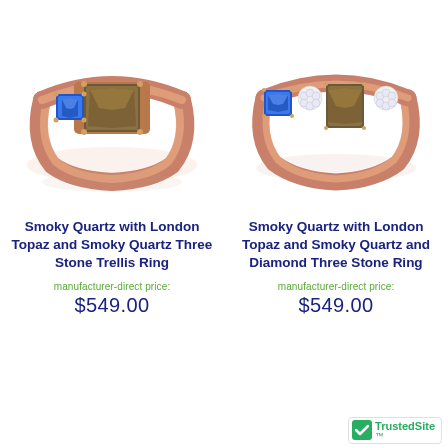[Figure (photo): Rose gold ring with blue London Topaz and smoky quartz three stone trellis setting]
[Figure (photo): Rose gold ring with blue London Topaz, smoky quartz, and diamond clusters three stone setting]
Smoky Quartz with London Topaz and Smoky Quartz Three Stone Trellis Ring
manufacturer-direct price:
$549.00
Smoky Quartz with London Topaz and Smoky Quartz and Diamond Three Stone Ring
manufacturer-direct price:
$549.00
[Figure (logo): TrustedSite badge with green checkmark shield]